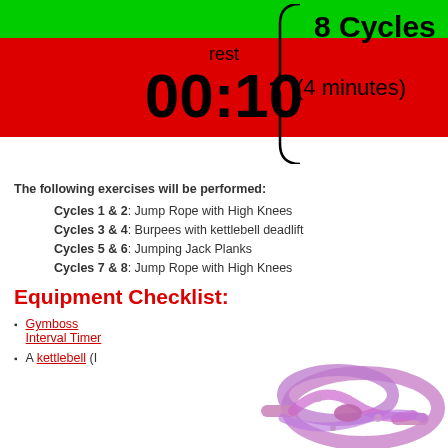[Figure (infographic): Green bar above a red box showing rest timer with '00:10' in large bold text, and 'rest' label above it. A curly brace to the right connects to '8 Cycles' and '(4 minutes)' text.]
The following exercises will be performed:
Cycles 1 & 2: Jump Rope with High Knees
Cycles 3 & 4: Burpees with kettlebell deadlift
Cycles 5 & 6: Jumping Jack Planks
Cycles 7 & 8: Jump Rope with High Knees
Equipment Checklist:
Gymboss Interval Timer
A kettlebell (I
[Figure (photo): Purple jump rope coiled and shown in lower right of page]